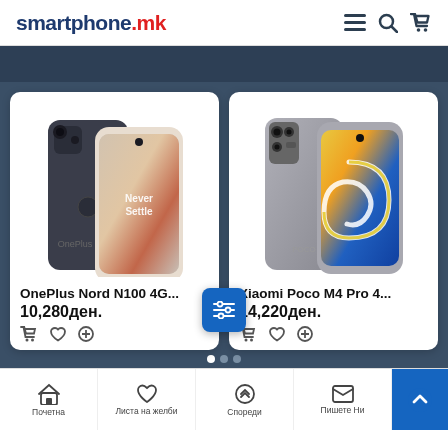smartphone.mk
[Figure (screenshot): OnePlus Nord N100 4G smartphone product card showing phone image, name truncated as 'OnePlus Nord N100 4G...', price 10,280ден., and action icons (cart, wishlist, compare)]
[Figure (screenshot): Xiaomi Poco M4 Pro 4G smartphone product card showing phone image with colorful back, name truncated as 'Xiaomi Poco M4 Pro 4...', price 14,220ден., and action icons (cart, wishlist, compare)]
Почетна | Листа на желби | Спореди | Пишете Ни | Јавете ни се